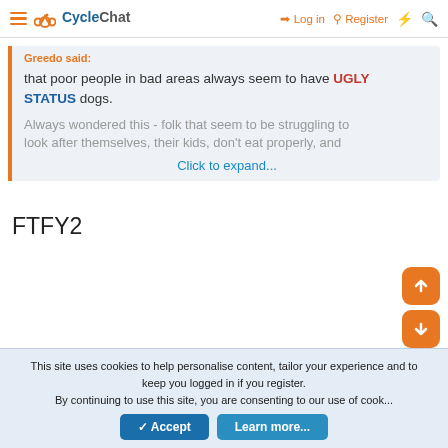CycleChat — Log in | Register
Greedo said: that poor people in bad areas always seem to have UGLY STATUS dogs. Always wondered this - folk that seem to be struggling to look after themselves, their kids, don't eat properly, and Click to expand...
FTFY2
This site uses cookies to help personalise content, tailor your experience and to keep you logged in if you register. By continuing to use this site, you are consenting to our use of cookies. Accept | Learn more...